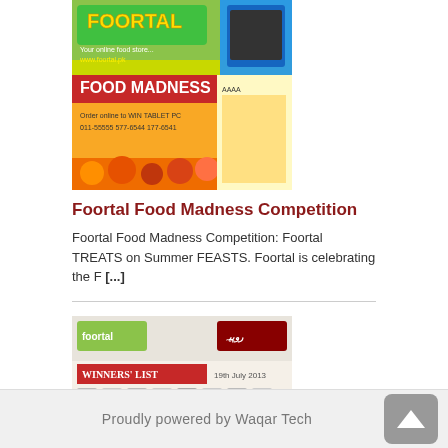[Figure (photo): Foortal Food Madness advertisement banner with colorful food images, FOOD MADNESS text, and www.foortal.pk website address]
Foortal Food Madness Competition
Foortal Food Madness Competition: Foortal TREATS on Summer FEASTS. Foortal is celebrating the F [...]
[Figure (photo): Ramadan Rupiya Offer Winners list dated 19th July 2013 with photos of winners in a grid]
Ramadan Rupiya Offer Winners: 24 Jul 2013
[...]
Proudly powered by Waqar Tech